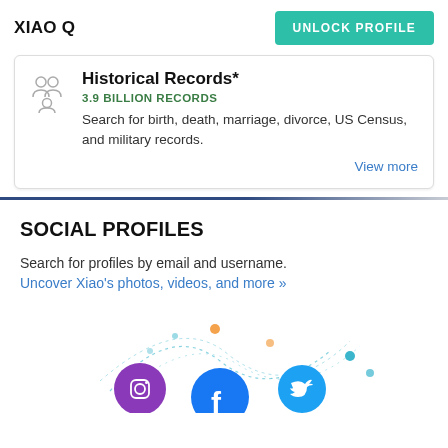XIAO Q
UNLOCK PROFILE
Historical Records*
3.9 BILLION RECORDS
Search for birth, death, marriage, divorce, US Census, and military records.
View more
SOCIAL PROFILES
Search for profiles by email and username.
Uncover Xiao's photos, videos, and more »
[Figure (illustration): Social network icons (Instagram, Facebook, Twitter) connected by dotted arc lines with orange and blue dots, suggesting a social profile network visualization.]